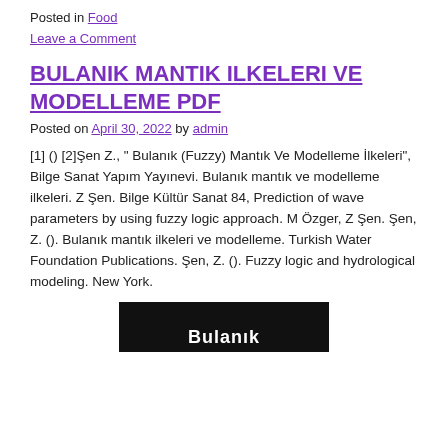Posted in Food
Leave a Comment
BULANIK MANTIK ILKELERI VE MODELLEME PDF
Posted on April 30, 2022 by admin
[1] () [2]Şen Z., " Bulanık (Fuzzy) Mantık Ve Modelleme İlkeleri", Bilge Sanat Yapım Yayınevi. Bulanık mantık ve modelleme ilkeleri. Z Şen. Bilge Kültür Sanat 84, Prediction of wave parameters by using fuzzy logic approach. M Özger, Z Şen. Şen, Z. (). Bulanık mantık ilkeleri ve modelleme. Turkish Water Foundation Publications. Şen, Z. (). Fuzzy logic and hydrological modeling. New York.
[Figure (photo): Dark background image with white text showing 'Bulanık' (partial title visible)]